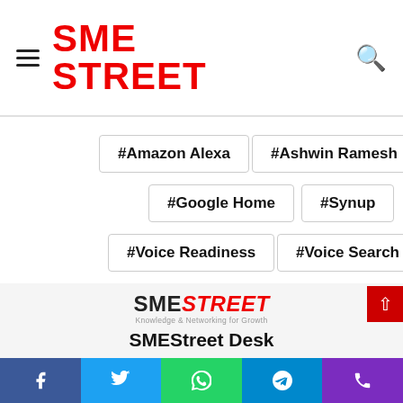[Figure (logo): SMEStreet logo with hamburger menu and search icon in navigation bar]
#Amazon Alexa
#Ashwin Ramesh
#Google Home
#Synup
#Voice Readiness
#Voice Search
[Figure (logo): SMEStreet logo - Knowledge & Networking for Growth]
SMEStreet Desk
SMEStreet is fast growing platform dedicated to entrepreneurs from small and medium sized businesses (SMEs). Committed facilitating knowledge sharing for Entrepreneurs...